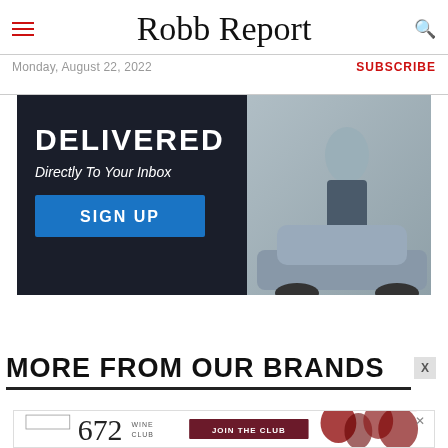Robb Report — Monday, August 22, 2022 — SUBSCRIBE
[Figure (photo): Advertisement banner: text 'DELIVERED Directly To Your Inbox' with a SIGN UP button, and a man leaning against a luxury car]
MORE FROM OUR BRANDS
[Figure (photo): Advertisement banner for Saddiport 672 Wine Club with JOIN THE CLUB button and wine imagery]